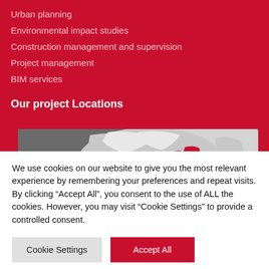Urban planning
Environmental impact studies
Construction management and supervision
Project management
BIM services
Our project Locations
[Figure (map): Map showing project locations in Europe with highlighted regions in red (Baltic states area) on a grey/light background map]
We use cookies on our website to give you the most relevant experience by remembering your preferences and repeat visits. By clicking “Accept All”, you consent to the use of ALL the cookies. However, you may visit "Cookie Settings" to provide a controlled consent.
Cookie Settings
Accept All